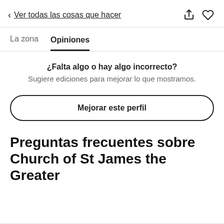< Ver todas las cosas que hacer
La zona   Opiniones
¿Falta algo o hay algo incorrecto?
Sugiere ediciones para mejorar lo que mostramos.
Mejorar este perfil
Preguntas frecuentes sobre Church of St James the Greater